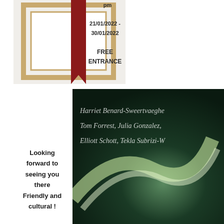[Figure (photo): Top image showing an angled wooden picture frame with a dark red/burgundy ribbon or bookmark shape overlaid, with text overlaid on the ribbon reading 'pm', '21/01/2022 - 30/01/2022', 'FREE ENTRANCE']
[Figure (photo): Bottom right image showing a dark green abstract swirling background (artwork) with white italic text listing artist names: 'Harriet Benard-Sweertvaeghe', 'Tom Forrest, Julia Gonzalez,', 'Elliott Schott, Tekla Subrizi-W']
Looking forward to seeing you there Friendly and cultural !